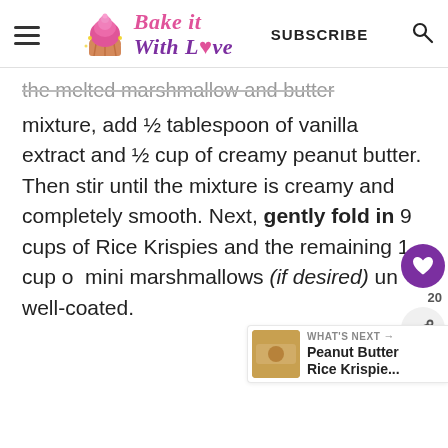Bake it With Love — SUBSCRIBE
the melted marshmallow and butter mixture, add ½ tablespoon of vanilla extract and ½ cup of creamy peanut butter. Then stir until the mixture is creamy and completely smooth. Next, gently fold in 9 cups of Rice Krispies and the remaining 1 cup of mini marshmallows (if desired) until well-coated.
WHAT'S NEXT → Peanut Butter Rice Krispie...